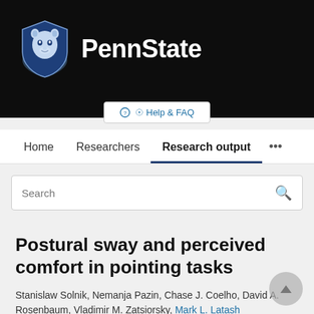[Figure (logo): Penn State logo with Nittany Lion shield and PennState wordmark in white on black background]
Help & FAQ
Home   Researchers   Research output   ...
Search
Postural sway and perceived comfort in pointing tasks
Stanislaw Solnik, Nemanja Pazin, Chase J. Coelho, David A. Rosenbaum, Vladimir M. Zatsiorsky, Mark L. Latash